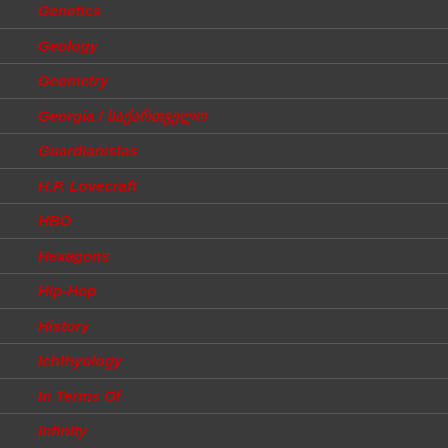Genetics
Geology
Geometry
Georgia / საქართველო
Guardianistas
H.P. Lovecraft
HBO
Hexagons
Hip-Hop
History
Ichthyology
In Terms Of
Infinity